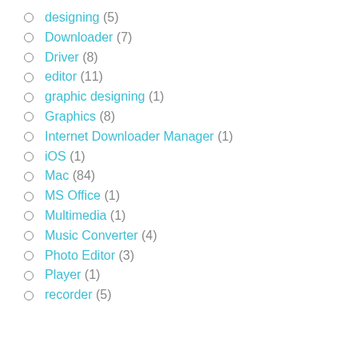designing (5)
Downloader (7)
Driver (8)
editor (11)
graphic designing (1)
Graphics (8)
Internet Downloader Manager (1)
iOS (1)
Mac (84)
MS Office (1)
Multimedia (1)
Music Converter (4)
Photo Editor (3)
Player (1)
recorder (5)